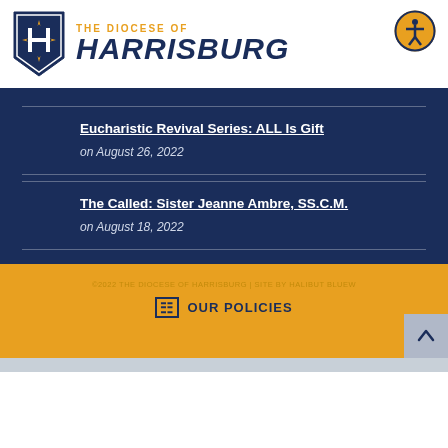[Figure (logo): The Diocese of Harrisburg shield logo with text]
Eucharistic Revival Series: ALL Is Gift
on August 26, 2022
The Called: Sister Jeanne Ambre, SS.C.M.
on August 18, 2022
©2022 THE DIOCESE OF HARRISBURG | SITE BY HALIBUT BLUEW
OUR POLICIES